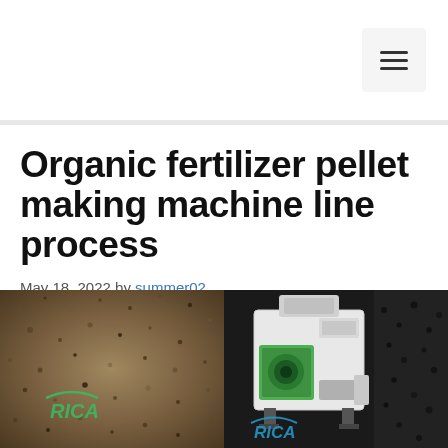menu navigation button
Organic fertilizer pellet making machine line process
May 18, 2022 by summer02
[Figure (photo): Two-panel image showing organic fertilizer material (dark granular soil/compost texture) on the left with RICA logo watermark, and a white and green pellet making machine on black background on the right with RICA logo watermark]